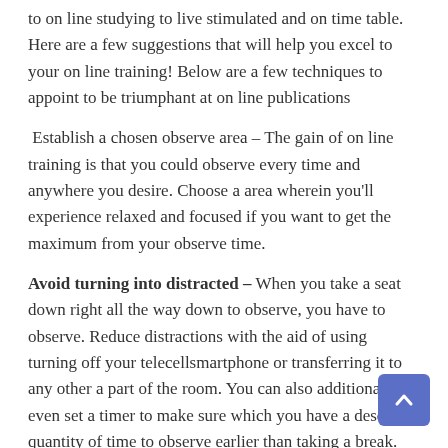to on line studying to live stimulated and on time table. Here are a few suggestions that will help you excel to your on line training! Below are a few techniques to appoint to be triumphant at on line publications
Establish a chosen observe area – The gain of on line training is that you could observe every time and anywhere you desire. Choose a area wherein you'll experience relaxed and focused if you want to get the maximum from your observe time.
Avoid turning into distracted – When you take a seat down right all the way down to observe, you have to observe. Reduce distractions with the aid of using turning off your telecellsmartphone or transferring it to any other a part of the room. You can also additionally even set a timer to make sure which you have a described quantity of time to observe earlier than taking a break.
Make a observe plan – Plan while you`re going to observe if you taking a direction with a time limit. Make positive you've got got sufficient time every week to finish your schoolwork so that you can